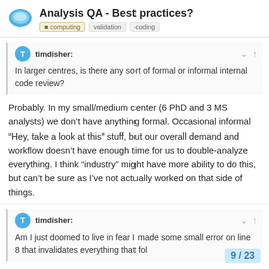Analysis QA - Best practices?
computing   validation   coding
timdisher:
In larger centres, is there any sort of formal or informal internal code review?
Probably. In my small/medium center (6 PhD and 3 MS analysts) we don’t have anything formal. Occasional informal “Hey, take a look at this” stuff, but our overall demand and workflow doesn’t have enough time for us to double-analyze everything. I think “industry” might have more ability to do this, but can’t be sure as I’ve not actually worked on that side of things.
timdisher:
Am I just doomed to live in fear I made some small error on line 8 that invalidates everything that fol
9 / 23